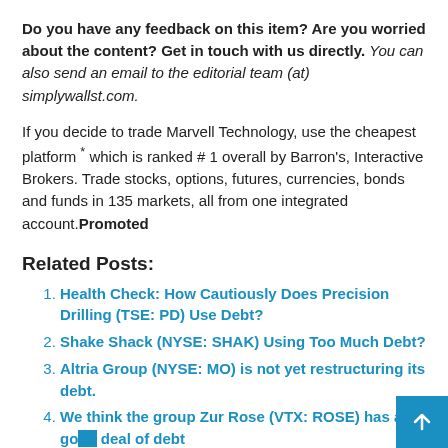Do you have any feedback on this item? Are you worried about the content? Get in touch with us directly. You can also send an email to the editorial team (at) simplywallst.com.
If you decide to trade Marvell Technology, use the cheapest platform * which is ranked # 1 overall by Barron's, Interactive Brokers. Trade stocks, options, futures, currencies, bonds and funds in 135 markets, all from one integrated account.Promoted
Related Posts:
Health Check: How Cautiously Does Precision Drilling (TSE: PD) Use Debt?
Shake Shack (NYSE: SHAK) Using Too Much Debt?
Altria Group (NYSE: MO) is not yet restructuring its debt.
We think the group Zur Rose (VTX: ROSE) has a good deal of debt